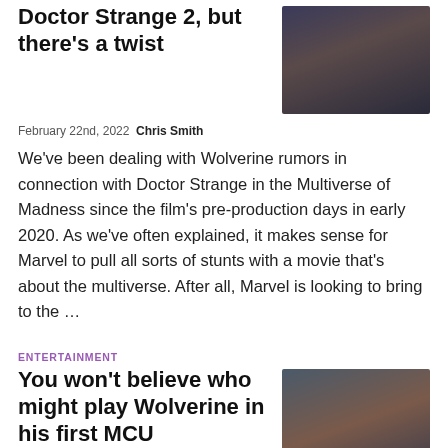Doctor Strange 2, but there's a twist
[Figure (photo): Doctor Strange character in a dark scene]
February 22nd, 2022  Chris Smith
We've been dealing with Wolverine rumors in connection with Doctor Strange in the Multiverse of Madness since the film's pre-production days in early 2020. As we've often explained, it makes sense for Marvel to pull all sorts of stunts with a movie that's about the multiverse. After all, Marvel is looking to bring to the …
ENTERTAINMENT
You won't believe who might play Wolverine in his first MCU appearance
[Figure (photo): Doctor Strange character portrait in MCU setting]